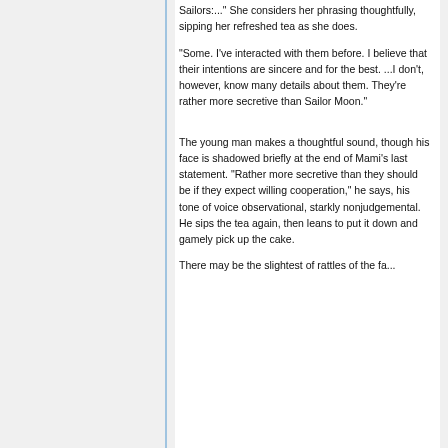Sailors:..." She considers her phrasing thoughtfully, sipping her refreshed tea as she does.
"Some. I've interacted with them before. I believe that their intentions are sincere and for the best. ...I don't, however, know many details about them. They're rather more secretive than Sailor Moon."
The young man makes a thoughtful sound, though his face is shadowed briefly at the end of Mami's last statement. "Rather more secretive than they should be if they expect willing cooperation," he says, his tone of voice observational, starkly nonjudgemental. He sips the tea again, then leans to put it down and gamely pick up the cake.
There may be the slightest of rattles of the fa...